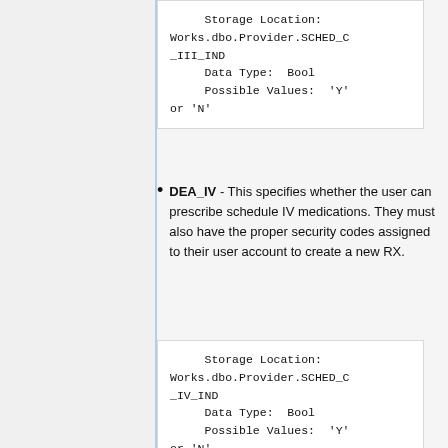Storage Location:
Works.dbo.Provider.SCHED_C_III_IND
    Data Type:  Bool
    Possible Values:  'Y' or 'N'
DEA_IV - This specifies whether the user can prescribe schedule IV medications. They must also have the proper security codes assigned to their user account to create a new RX.
Storage Location:
Works.dbo.Provider.SCHED_C_IV_IND
    Data Type:  Bool
    Possible Values:  'Y' or 'N'